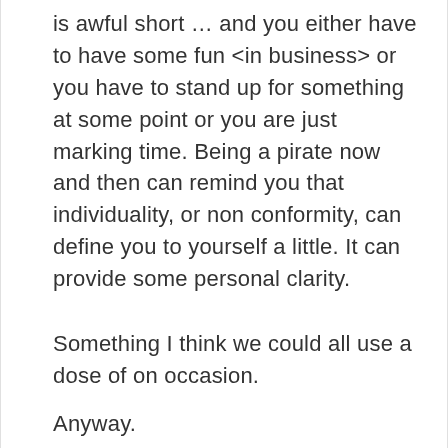is awful short … and you either have to have some fun <in business> or you have to stand up for something at some point or you are just marking time. Being a pirate now and then can remind you that individuality, or non conformity, can define you to yourself a little. It can provide some personal clarity.
Something I think we could all use a dose of on occasion.
Anyway.